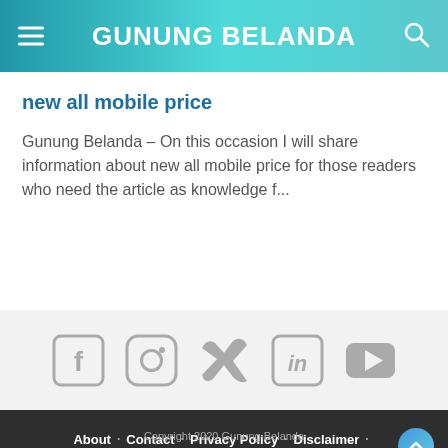GUNUNG BELANDA
new all mobile price
Gunung Belanda – On this occasion I will share information about new all mobile price for those readers who need the article as knowledge f...
[Figure (infographic): Social media icons row: Facebook, Instagram, Twitter, LinkedIn, YouTube — all in gray on light gray background]
About · Contact · Privacy Policy · Disclaimer · SDK · Link Error
Copyright 2020 Gunung Belanda